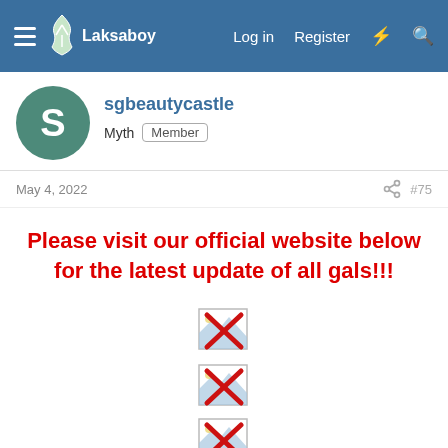Laksaboy — Log in  Register
sgbeautycastle
Myth  Member
May 4, 2022  #75
Please visit our official website below for the latest update of all gals!!!
[Figure (other): Four broken image icons (red X with landscape thumbnail corner) stacked vertically in the center of the post]
[Figure (other): Broken image icon 2]
[Figure (other): Broken image icon 3]
[Figure (other): Broken image icon 4]